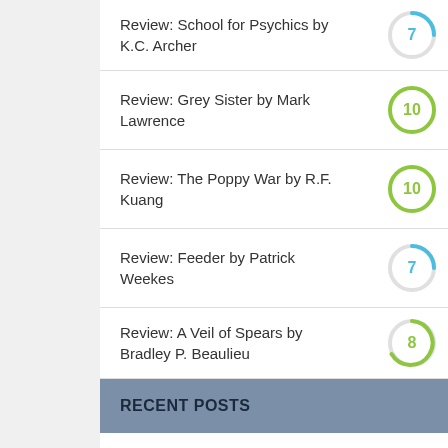Review: School for Psychics by K.C. Archer  7
Review: Grey Sister by Mark Lawrence  10
Review: The Poppy War by R.F. Kuang  10
Review: Feeder by Patrick Weekes  7
Review: A Veil of Spears by Bradley P. Beaulieu  8
RECENT POSTS
Review: School for Psychics by K.C. Archer  June